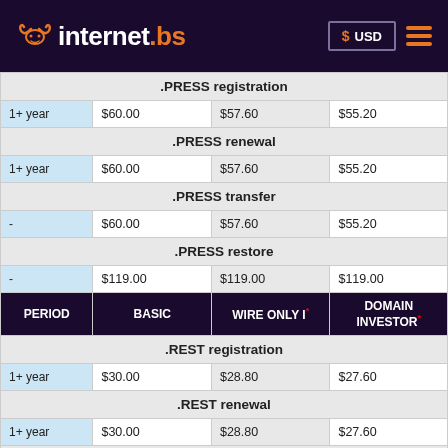internet.bs — USD
| PERIOD | BASIC | WIRE ONLY I* | DOMAIN INVESTOR* |
| --- | --- | --- | --- |
| .PRESS registration |  |  |  |
| 1+ year | $60.00 | $57.60 | $55.20 |
| .PRESS renewal |  |  |  |
| 1+ year | $60.00 | $57.60 | $55.20 |
| .PRESS transfer |  |  |  |
| - | $60.00 | $57.60 | $55.20 |
| .PRESS restore |  |  |  |
| - | $119.00 | $119.00 | $119.00 |
| PERIOD | BASIC | WIRE ONLY I* | DOMAIN INVESTOR* |
| .REST registration |  |  |  |
| 1+ year | $30.00 | $28.80 | $27.60 |
| .REST renewal |  |  |  |
| 1+ year | $30.00 | $28.80 | $27.60 |
| .REST transfer |  |  |  |
| - | $30.00 | $28.80 | $27.60 |